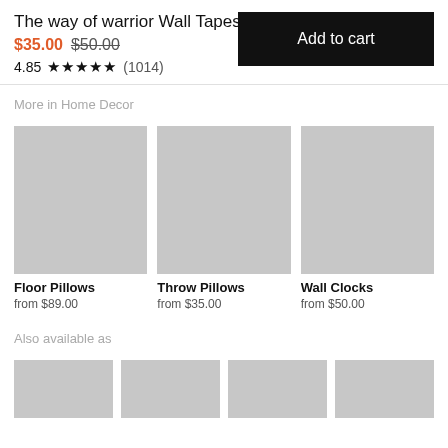The way of warrior Wall Tapestry
$35.00 $50.00
4.85 ★★★★★ (1014)
Add to cart
More in Home Decor
[Figure (photo): Gray placeholder image for Floor Pillows product]
Floor Pillows
from $89.00
[Figure (photo): Gray placeholder image for Throw Pillows product]
Throw Pillows
from $35.00
[Figure (photo): Gray placeholder image for Wall Clocks product]
Wall Clocks
from $50.00
Also available as
[Figure (photo): Gray placeholder image 1 for also available as]
[Figure (photo): Gray placeholder image 2 for also available as]
[Figure (photo): Gray placeholder image 3 for also available as]
[Figure (photo): Gray placeholder image 4 for also available as]